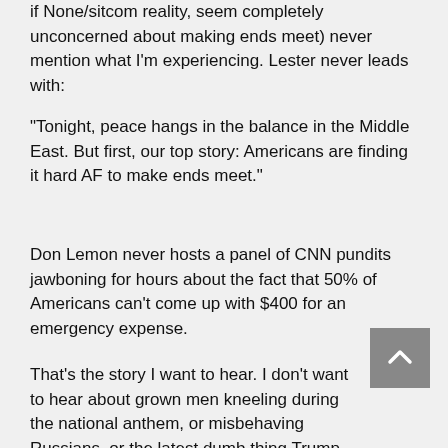if None/sitcom reality, seem completely unconcerned about making ends meet) never mention what I'm experiencing. Lester never leads with:
"Tonight, peace hangs in the balance in the Middle East. But first, our top story: Americans are finding it hard AF to make ends meet."
Don Lemon never hosts a panel of CNN pundits jawboning for hours about the fact that 50% of Americans can't come up with $400 for an emergency expense.
That's the story I want to hear. I don't want to hear about grown men kneeling during the national anthem, or misbehaving Russians, or the latest dumb thing Trump Tweeted. I want to hear someone acknowledge the reality I'm living every day, the one that almost all of my friends and